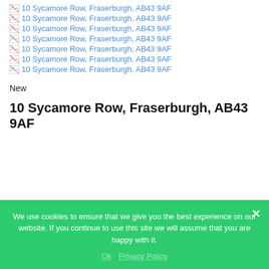10 Sycamore Row, Fraserburgh, AB43 9AF
10 Sycamore Row, Fraserburgh, AB43 9AF
10 Sycamore Row, Fraserburgh, AB43 9AF
10 Sycamore Row, Fraserburgh, AB43 9AF
10 Sycamore Row, Fraserburgh, AB43 9AF
10 Sycamore Row, Fraserburgh, AB43 9AF
10 Sycamore Row, Fraserburgh, AB43 9AF
New
10 Sycamore Row, Fraserburgh, AB43 9AF
We use cookies to ensure that we give you the best experience on our website. If you continue to use this site we will assume that you are happy with it.
Ok   Privacy Policy